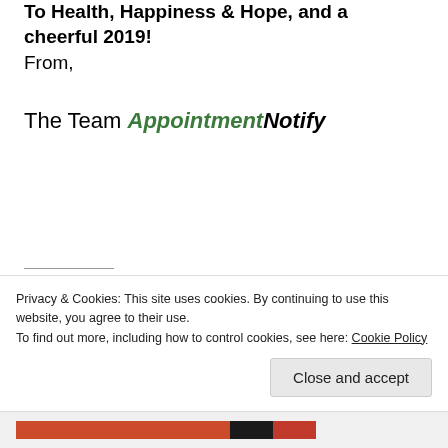To Health, Happiness & Hope, and a cheerful 2019!
From,
The Team AppointmentNotify
Share this:
Advertisements
Privacy & Cookies: This site uses cookies. By continuing to use this website, you agree to their use.
To find out more, including how to control cookies, see here: Cookie Policy
Close and accept